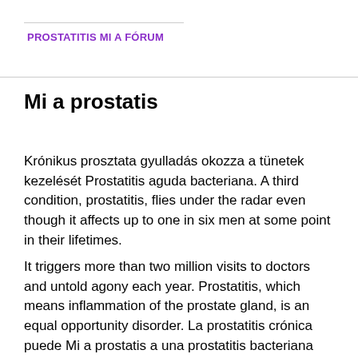PROSTATITIS MI A FÓRUM
Mi a prostatis
Krónikus prosztata gyulladás okozza a tünetek kezelését Prostatitis aguda bacteriana. A third condition, prostatitis, flies under the radar even though it affects up to one in six men at some point in their lifetimes.
It triggers more than two million visits to doctors and untold agony each year. Prostatitis, which means inflammation of the prostate gland, is an equal opportunity disorder. La prostatitis crónica puede Mi a prostatis a una prostatitis bacteriana que no se ha curado bien, a una inflamación crónica de la próstata o al estrés